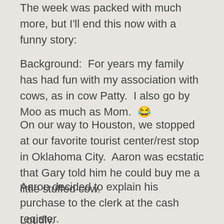The week was packed with much more, but I'll end this now with a funny story:
Background:  For years my family has had fun with my association with cows, as in cow Patty.  I also go by Moo as much as Mom.  😂
On our way to Houston, we stopped at our favorite tourist center/rest stop in Oklahoma City.  Aaron was ecstatic that Gary told him he could buy me a little stuffed cow.
Aaron decided to explain his purchase to the clerk at the cash register.
Loudly.